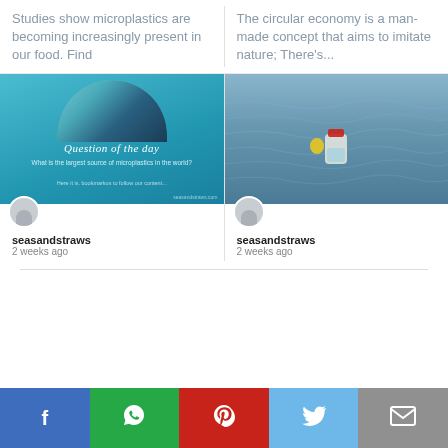Studies show microplastics are becoming increasingly present in our food. Find
The circular economy is a man-made concept that aims to imitate nature; There's...
[Figure (photo): Question of the day card with teal background showing a harbor photo in arch shape, cursive text 'Question of the day', and question about largest source of microplastics in the world]
[Figure (photo): Plastic bottle and caps floating on water surface with rippling blue-grey water]
seasandstraws
2 weeks ago
seasandstraws
2 weeks ago